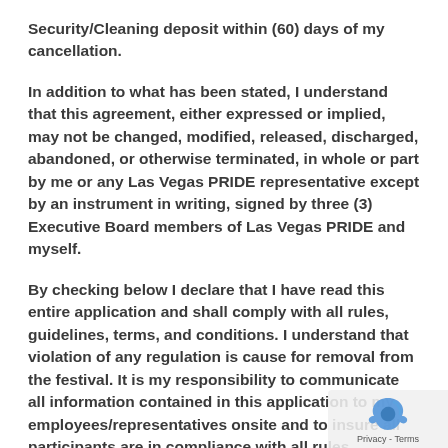Security/Cleaning deposit within (60) days of my cancellation.
In addition to what has been stated, I understand that this agreement, either expressed or implied, may not be changed, modified, released, discharged, abandoned, or otherwise terminated, in whole or part by me or any Las Vegas PRIDE representative except by an instrument in writing, signed by three (3) Executive Board members of Las Vegas PRIDE and myself.
By checking below I declare that I have read this entire application and shall comply with all rules, guidelines, terms, and conditions. I understand that violation of any regulation is cause for removal from the festival. It is my responsibility to communicate all information contained in this application to my employees/representatives onsite and to insure all participants are in compliance with all rules, guidelines,